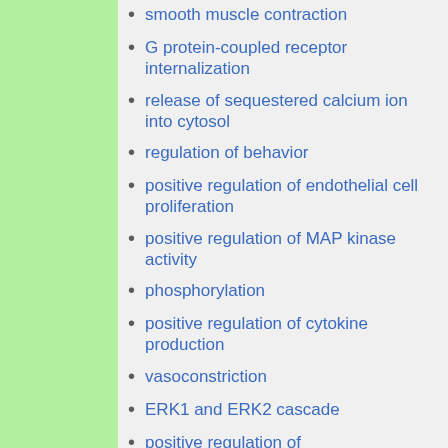smooth muscle contraction
G protein-coupled receptor internalization
release of sequestered calcium ion into cytosol
regulation of behavior
positive regulation of endothelial cell proliferation
positive regulation of MAP kinase activity
phosphorylation
positive regulation of cytokine production
vasoconstriction
ERK1 and ERK2 cascade
positive regulation of phosphatidylinositol biosynthetic process